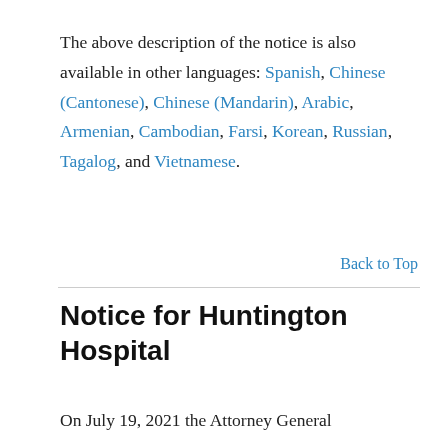The above description of the notice is also available in other languages: Spanish, Chinese (Cantonese), Chinese (Mandarin), Arabic, Armenian, Cambodian, Farsi, Korean, Russian, Tagalog, and Vietnamese.
Back to Top
Notice for Huntington Hospital
On July 19, 2021 the Attorney General